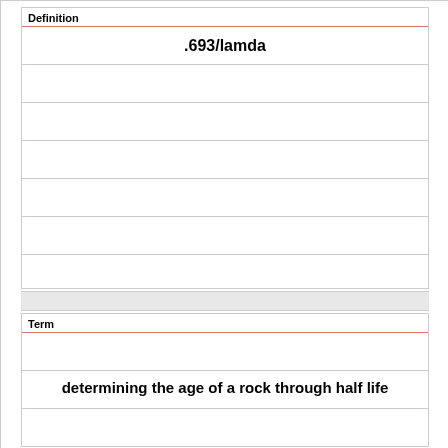Definition
.693/lamda
Term
determining the age of a rock through half life